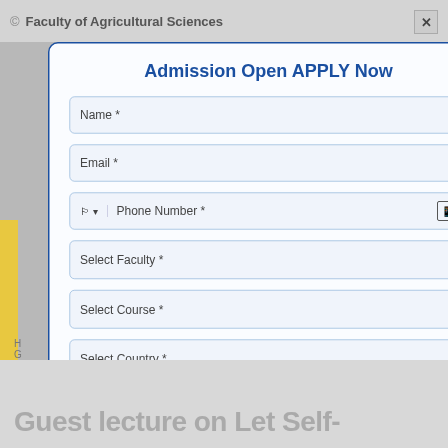Faculty of Agricultural Sciences
Admission Open APPLY Now
Name *
Email *
Phone Number *
Select Faculty *
Select Course *
Select Country *
Admissions Open 2022 - 23
Guest lecture on Let Self-